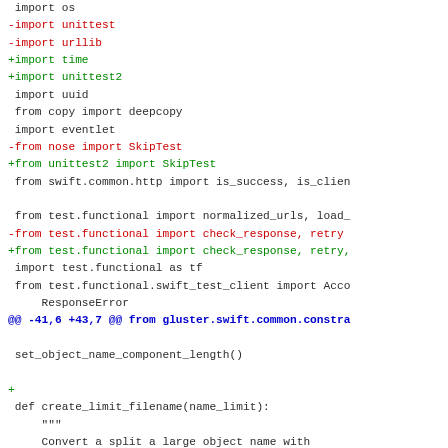[Figure (screenshot): A unified diff (code diff) view showing Python import changes and a function definition in a source file. Removed lines are in red, added lines are in green, context lines in dark/black, and hunk headers in blue.]